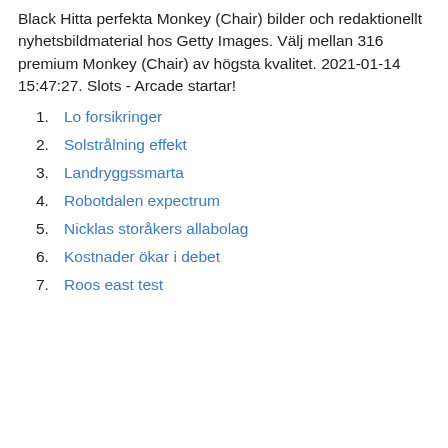Black Hitta perfekta Monkey (Chair) bilder och redaktionellt nyhetsbildmaterial hos Getty Images. Välj mellan 316 premium Monkey (Chair) av högsta kvalitet. 2021-01-14 15:47:27. Slots - Arcade startar!
Lo forsikringer
Solstrålning effekt
Landryggssmarta
Robotdalen expectrum
Nicklas storåkers allabolag
Kostnader ökar i debet
Roos east test